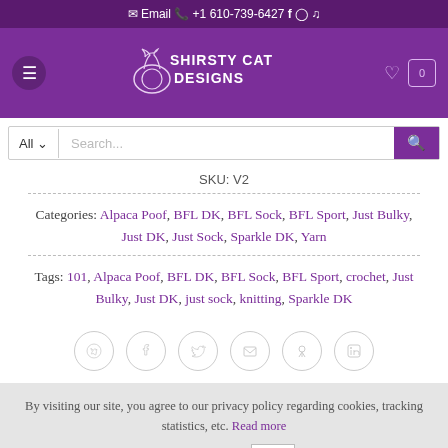Email  +1 610-739-6427  f  [instagram]  [tiktok]
[Figure (logo): Shirsty Cat Designs logo with cat and yarn ball illustration in white on purple background, with hamburger menu icon on left and heart/cart icons on right]
[Figure (screenshot): Search bar with 'All' dropdown and 'Search...' placeholder and purple search button]
SKU: V2
Categories: Alpaca Poof, BFL DK, BFL Sock, BFL Sport, Just Bulky, Just DK, Just Sock, Sparkle DK, Yarn
Tags: 101, Alpaca Poof, BFL DK, BFL Sock, BFL Sport, crochet, Just Bulky, Just DK, just sock, knitting, Sparkle DK
[Figure (other): Row of 6 circular social share icons: WhatsApp, Facebook, Twitter, Email, Pinterest, LinkedIn]
By visiting our site, you agree to our privacy policy regarding cookies, tracking statistics, etc. Read more
ACCEPT  X